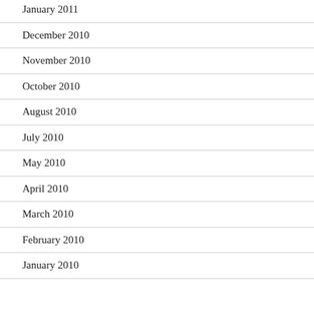January 2011
December 2010
November 2010
October 2010
August 2010
July 2010
May 2010
April 2010
March 2010
February 2010
January 2010